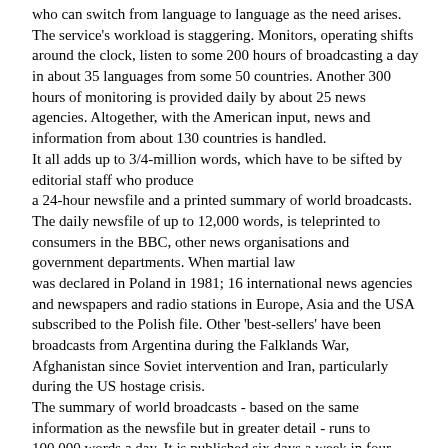who can switch from language to language as the need arises. The service's workload is staggering. Monitors, operating shifts around the clock, listen to some 200 hours of broadcasting a day in about 35 languages from some 50 countries. Another 300 hours of monitoring is provided daily by about 25 news agencies. Altogether, with the American input, news and information from about 130 countries is handled. It all adds up to 3/4-million words, which have to be sifted by editorial staff who produce a 24-hour newsfile and a printed summary of world broadcasts. The daily newsfile of up to 12,000 words, is teleprinted to consumers in the BBC, other news organisations and government departments. When martial law was declared in Poland in 1981; 16 international news agencies and newspapers and radio stations in Europe, Asia and the USA subscribed to the Polish file. Other 'best-sellers' have been broadcasts from Argentina during the Falklands War, Afghanistan since Soviet intervention and Iran, particularly during the US hostage crisis. The summary of world broadcasts - based on the same information as the newsfile but in greater detail - runs to 100,000 words a day. It is published six days a week in four parts covering the USSR; East Europe; the Far East; and the Middle East, Africa and Latin America Thousands of copies are printed and posted daily or dispatched electronically to subscribers all over the world including Nexis, the world's biggest database in Dayton, Ohio. To meet the constant increase in broadcasting output, a 16 million